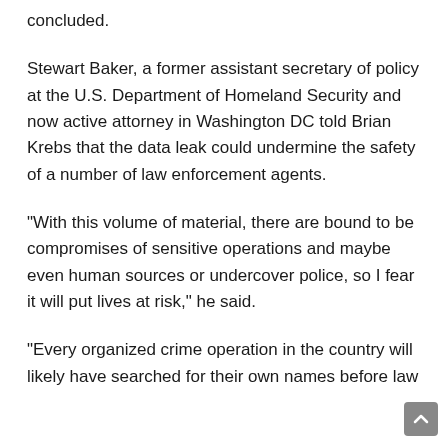concluded.
Stewart Baker, a former assistant secretary of policy at the U.S. Department of Homeland Security and now active attorney in Washington DC told Brian Krebs that the data leak could undermine the safety of a number of law enforcement agents.
“With this volume of material, there are bound to be compromises of sensitive operations and maybe even human sources or undercover police, so I fear it will put lives at risk,” he said.
“Every organized crime operation in the country will likely have searched for their own names before law